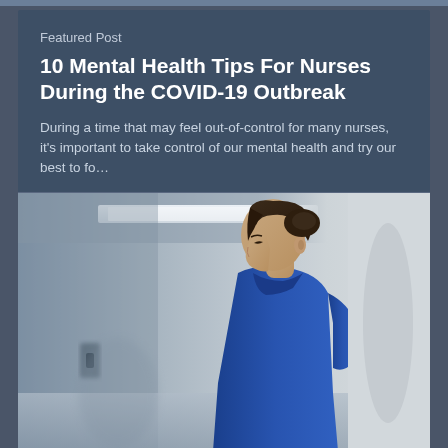Featured Post
10 Mental Health Tips For Nurses During the COVID-19 Outbreak
During a time that may feel out-of-control for many nurses, it’s important to take control of our mental health and try our best to fo…
[Figure (photo): A nurse in blue scrubs leaning against a wall in a hospital corridor, looking downward with a somber expression. The hallway is blurred in the background with fluorescent lighting overhead.]